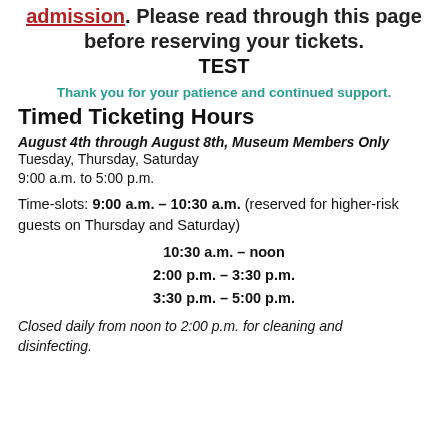admission. Please read through this page before reserving your tickets. TEST
Thank you for your patience and continued support.
Timed Ticketing Hours
August 4th through August 8th, Museum Members Only
Tuesday, Thursday, Saturday
9:00 a.m. to 5:00 p.m.
Time-slots: 9:00 a.m. – 10:30 a.m. (reserved for higher-risk guests on Thursday and Saturday)
10:30 a.m. – noon
2:00 p.m. – 3:30 p.m.
3:30 p.m. – 5:00 p.m.
Closed daily from noon to 2:00 p.m. for cleaning and disinfecting.